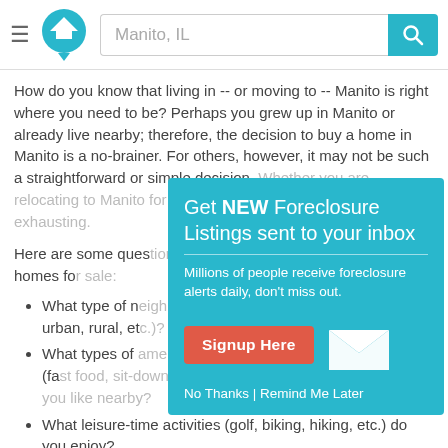Manito, IL — search bar header
How do you know that living in -- or moving to -- Manito is right where you need to be? Perhaps you grew up in Manito or already live nearby; therefore, the decision to buy a home in Manito is a no-brainer. For others, however, it may not be such a straightforward or simple decision. Whether you are relocating to Manito for work or on a neighborhood for exhausting.
Here are some questions to ask when looking at foreclosed homes for sale:
[Figure (screenshot): Popup overlay: Get NEW Foreclosure Listings sent to your inbox. Millions of people receive foreclosure alerts daily, don't miss out. Signup Here button. No Thanks | Remind Me Later links. Envelope icon.]
What type of neighborhood do you prefer (suburban, urban, rural, etc.)?
What types of amenities (schools, churches, restaurants (fast food, sit-down, take-out), shops, big, mixed) would you like nearby?
What leisure-time activities (golf, biking, hiking, etc.) do you enjoy?
What type of commute (car, plane, home office) do you